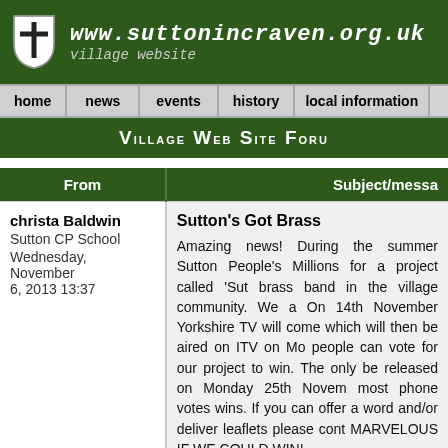www.suttonincraven.org.uk village website
home | news | events | history | local information
Village Web Site Forum
| From | Subject/message |
| --- | --- |
| christa Baldwin
Sutton CP School
Wednesday, November 6, 2013 13:37 | Sutton's Got Brass
Amazing news! During the summer Sutton People's Millions for a project called 'Sut brass band in the village community. We a On 14th November Yorkshire TV will come which will then be aired on ITV on Mo people can vote for our project to win. The only be released on Monday 25th Novem most phone votes wins. If you can offer a word and/or deliver leaflets please cont MARVELOUS IF WE COULD WIN! |